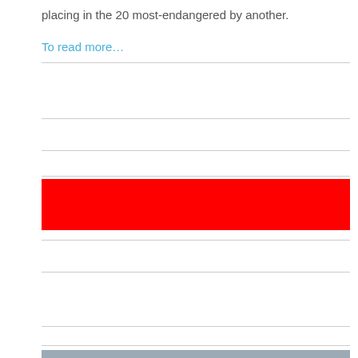placing in the 20 most-endangered by another.
To read more…
[Figure (other): Red banner/advertisement block]
[Figure (other): Gray image block partially visible at bottom of page]